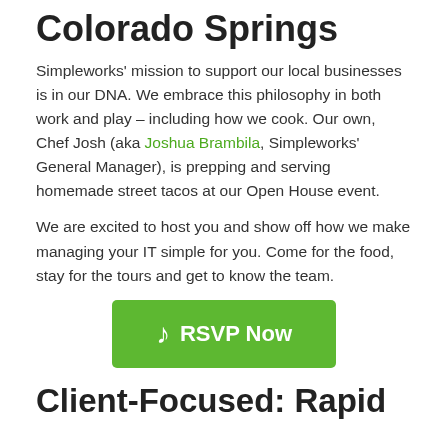Colorado Springs
Simpleworks' mission to support our local businesses is in our DNA. We embrace this philosophy in both work and play – including how we cook. Our own, Chef Josh (aka Joshua Brambila, Simpleworks' General Manager), is prepping and serving homemade street tacos at our Open House event.
We are excited to host you and show off how we make managing your IT simple for you. Come for the food, stay for the tours and get to know the team.
[Figure (other): Green RSVP Now button with a musical note icon]
Client-Focused: Rapid